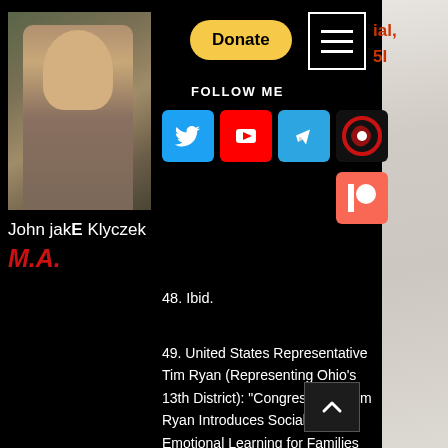[Figure (photo): Profile photo of John jakE Klyczek, a bearded man in a tan blazer]
Donate
FOLLOW ME
[Figure (logo): Twitter bird logo icon (blue)]
[Figure (logo): YouTube play button logo (red)]
[Figure (logo): Telegram logo (blue)]
[Figure (logo): Red circular logo]
[Figure (logo): Patreon logo (orange)]
John jakE Klyczek
M.A.
48. Ibid.
49. United States Representative Tim Ryan (Representing Ohio’s 13th District): “Congress-man Tim Ryan Introduces Social and Emotional Learning for Families (SELF) Act,” Media: Press Releases, June 14, 2018, https://timryan.house.gov/media/press-releases/congressman-tim-ryan-in-